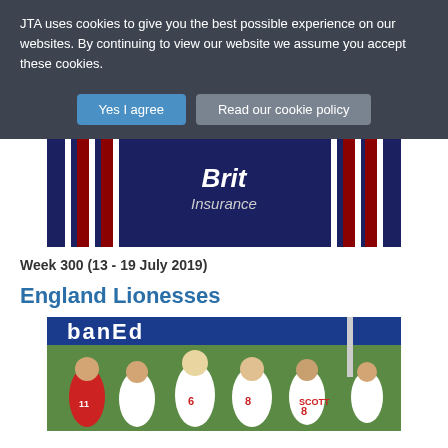JTA uses cookies to give you the best possible experience on our websites. By continuing to view our website we assume you accept these cookies.
Yes I agree | Read our cookie policy
[Figure (photo): Close-up photo of a person wearing a dark blue cricket jersey with 'Brit Insurance' sponsor logo and red/white stripes on the sleeves]
Week 300 (13 - 19 July 2019)
England Lionesses
[Figure (photo): Photo of England women's football players (Lionesses) celebrating on the pitch, wearing white kits with red numbers, with a blue sponsor board reading 'banEd' in the background]